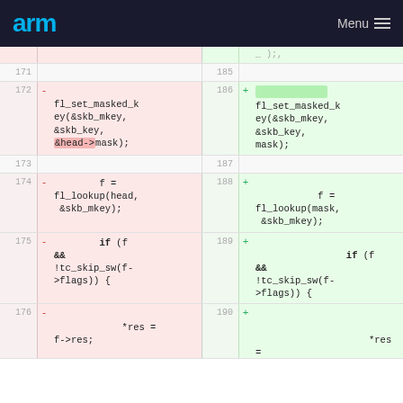arm  Menu
Diff view showing code changes. Left side lines 171-176, right side lines 185-190. Changes to fl_set_masked_key, fl_lookup, and if condition arguments replacing head pointer with mask.